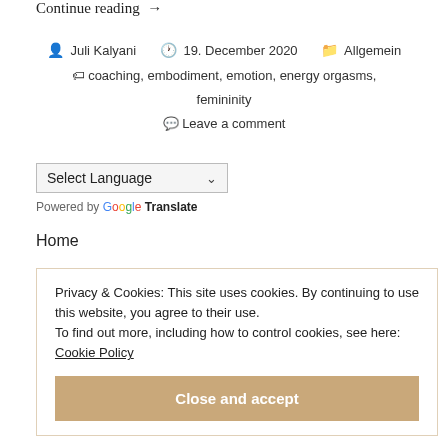Continue reading →
Juli Kalyani  19. December 2020  Allgemein
coaching, embodiment, emotion, energy orgasms, femininity
Leave a comment
Select Language  Powered by Google Translate
Home
Privacy & Cookies: This site uses cookies. By continuing to use this website, you agree to their use. To find out more, including how to control cookies, see here: Cookie Policy
Close and accept